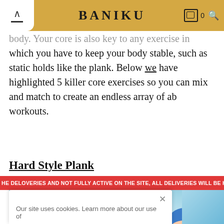BANIKU
body. Your core is also key to any exercise in which you have to keep your body stable, such as static holds like the plank. Below we have highlighted 5 killer core exercises so you can mix and match to create an endless array of ab workouts.
Hard Style Plank
[Figure (illustration): Illustration of a person performing a plank exercise with skeletal anatomy visible, on a light blue background]
HE DELOVERIES AND NOT FULLY ACTIVE ON THE SITE, ALL DELIVERIES WILL BE HANDLED
Our site uses cookies. Learn more about our use of